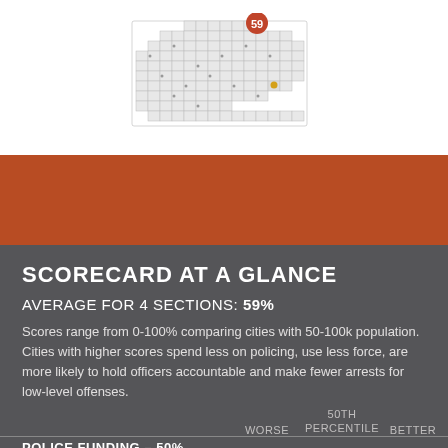[Figure (map): Map of Missouri counties with a score of 59 highlighted in an orange circle badge, showing the state's counties as small squares/cells with dots.]
SCORECARD AT A GLANCE
AVERAGE FOR 4 SECTIONS: 59%
Scores range from 0-100% comparing cities with 50-100k population. Cities with higher scores spend less on policing, use less force, are more likely to hold officers accountable and make fewer arrests for low-level offenses.
WORSE   50TH PERCENTILE   BETTER
POLICE FUNDING – 50%